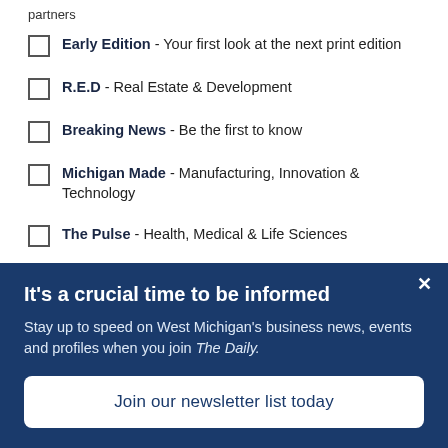partners
Early Edition - Your first look at the next print edition
R.E.D - Real Estate & Development
Breaking News - Be the first to know
Michigan Made - Manufacturing, Innovation & Technology
The Pulse - Health, Medical & Life Sciences
People on the Move - New Hires, Promotions & Board Members
It's a crucial time to be informed
Stay up to speed on West Michigan's business news, events and profiles when you join The Daily.
Join our newsletter list today